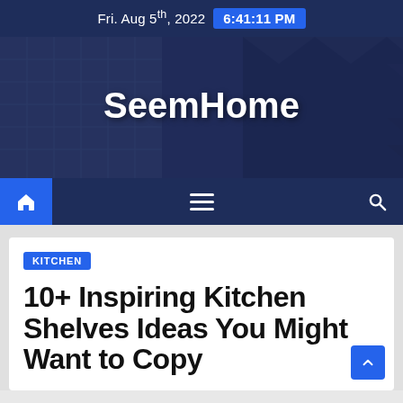Fri. Aug 5th, 2022  6:41:11 PM
[Figure (photo): SeemHome website hero banner showing city skyscrapers/buildings viewed from below with dark blue overlay, with 'SeemHome' text centered in white bold]
SeemHome
[Figure (screenshot): Dark blue navigation bar with a blue home icon on the left, hamburger menu icon in the center, and search icon on the right]
KITCHEN
10+ Inspiring Kitchen Shelves Ideas You Might Want to Copy